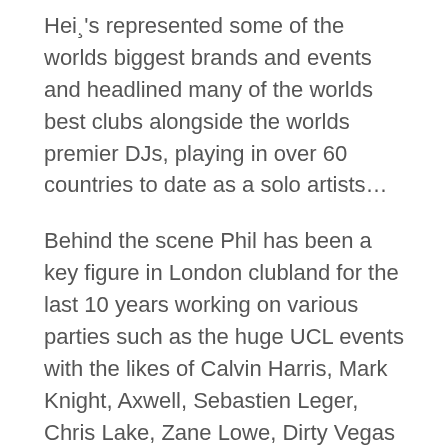Hei¸'s represented some of the worlds biggest brands and events and headlined many of the worlds best clubs alongside the worlds premier DJs, playing in over 60 countries to date as a solo artists…
Behind the scene Phil has been a key figure in London clubland for the last 10 years working on various parties such as the huge UCL events with the likes of Calvin Harris, Mark Knight, Axwell, Sebastien Leger, Chris Lake, Zane Lowe, Dirty Vegas etc to some of the coolest underground house and techno parties such as Retox at Sosho with acts, BookaShade, Tiefschwarz, Luciano, M.A.N.D.Y etc, a night that was credited with changing the face of Sunday clubbing in the capital.
Fast-ï,â€forward to today and Phil has been instrumental in the evolving new scene in Asia. Now residing in